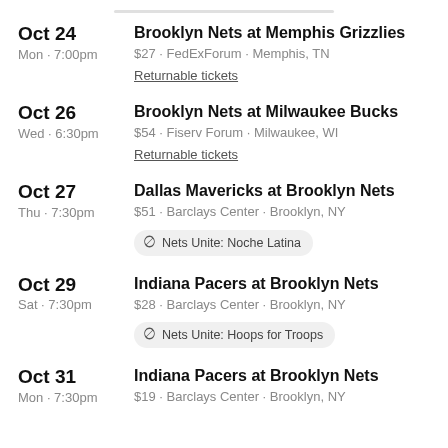Oct 24 | Mon · 7:00pm | Brooklyn Nets at Memphis Grizzlies | $27 · FedExForum · Memphis, TN | Returnable tickets
Oct 26 | Wed · 6:30pm | Brooklyn Nets at Milwaukee Bucks | $54 · Fiserv Forum · Milwaukee, WI | Returnable tickets
Oct 27 | Thu · 7:30pm | Dallas Mavericks at Brooklyn Nets | $51 · Barclays Center · Brooklyn, NY | Nets Unite: Noche Latina
Oct 29 | Sat · 7:30pm | Indiana Pacers at Brooklyn Nets | $28 · Barclays Center · Brooklyn, NY | Nets Unite: Hoops for Troops
Oct 31 | Mon · 7:30pm | Indiana Pacers at Brooklyn Nets | $19 · Barclays Center · Brooklyn, NY